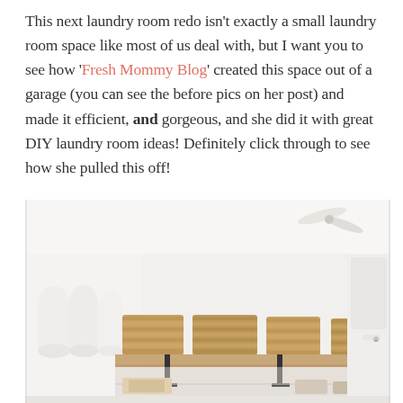This next laundry room redo isn't exactly a small laundry room space like most of us deal with, but I want you to see how 'Fresh Mommy Blog' created this space out of a garage (you can see the before pics on her post) and made it efficient, and gorgeous, and she did it with great DIY laundry room ideas! Definitely click through to see how she pulled this off!
[Figure (photo): A bright, organized laundry room converted from a garage, showing open wooden shelves with wicker baskets, paper towel rolls, and laundry machines below. A ceiling fan is visible in the upper right. The space has white walls and a clean, minimalist aesthetic.]